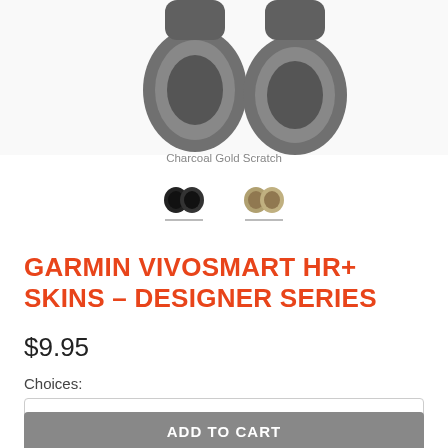MENU   CART
[Figure (photo): Two Garmin Vivosmart HR+ watch faces shown side by side against a white background, partially cropped at top]
Charcoal Gold Scratch
[Figure (photo): Two small thumbnail images of Garmin Vivosmart HR+ watch bands — one dark/charcoal, one gold/tan — each with a grey underline indicator]
GARMIN VIVOSMART HR+ SKINS - DESIGNER SERIES
$9.95
Choices:
Combo 1
ADD TO CART